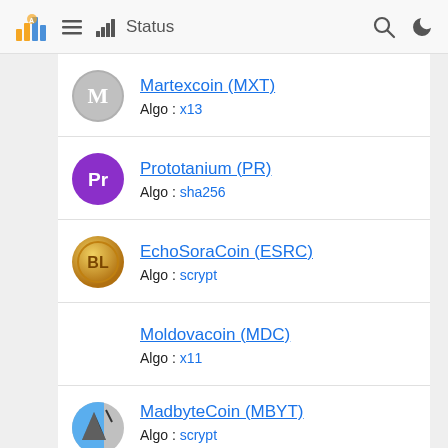Status
Martexcoin (MXT) Algo : x13
Prototanium (PR) Algo : sha256
EchoSoraCoin (ESRC) Algo : scrypt
Moldovacoin (MDC) Algo : x11
MadbyteCoin (MBYT) Algo : scrypt